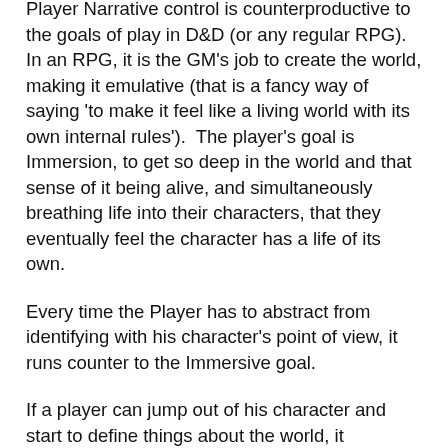Player Narrative control is counterproductive to the goals of play in D&D (or any regular RPG). In an RPG, it is the GM's job to create the world, making it emulative (that is a fancy way of saying 'to make it feel like a living world with its own internal rules').  The player's goal is Immersion, to get so deep in the world and that sense of it being alive, and simultaneously breathing life into their characters, that they eventually feel the character has a life of its own.
Every time the Player has to abstract from identifying with his character's point of view, it runs counter to the Immersive goal.
If a player can jump out of his character and start to define things about the world, it reinforces that the world is not alive. They see 'past the matrix' and the world becomes more of a fiction. It dissociates them from identification with their character.
So even within the boundaries of what you are arguing, making players part of the process of creating the world is counterproductive to the RPG experience. Fundamentally counterproductive, regardless of how much authority the GM…